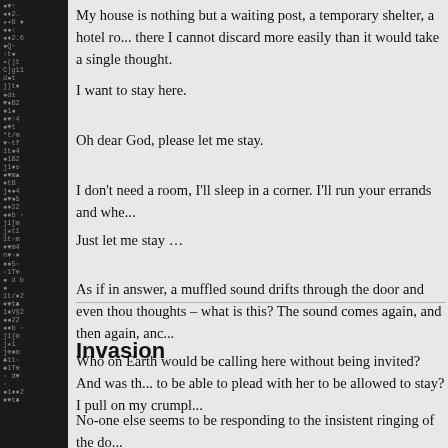My house is nothing but a waiting post, a temporary shelter, a hotel ro... there I cannot discard more easily than it would take a single thought.
I want to stay here.
Oh dear God, please let me stay.
I don't need a room, I'll sleep in a corner. I'll run your errands and whe...
Just let me stay …
As if in answer, a muffled sound drifts through the door and even thou thoughts – what is this? The sound comes again, and then again, anc...
Who on Earth would be calling here without being invited? And was th... to be able to plead with her to be allowed to stay? I pull on my crumpl...
Invasion
No-one else seems to be responding to the insistent ringing of the do...